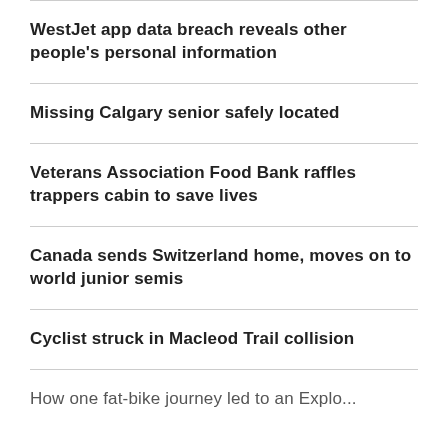WestJet app data breach reveals other people's personal information
Missing Calgary senior safely located
Veterans Association Food Bank raffles trappers cabin to save lives
Canada sends Switzerland home, moves on to world junior semis
Cyclist struck in Macleod Trail collision
How one fat-bike journey led to an Explore...